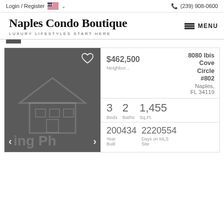Login / Register  🇺🇸 ∨   📞 (239) 908-0600
Naples Condo Boutique
LUXURY LIFESTYLES START HERE
MENU
[Figure (photo): Dark grey placeholder property photo with house outline watermark, navigation arrows and heart icon]
8080 Ibis Cove Circle #802
Naples, FL 34119
$462,500
Neighbor...
3 Beds   2 Baths   1,455 Sq.Ft.
200434 Year Built   2220554 Days on MLS Site